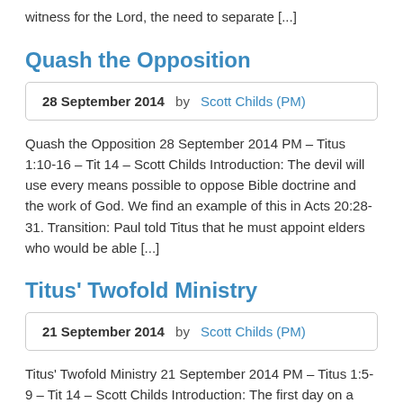witness for the Lord, the need to separate [...]
Quash the Opposition
28 September 2014   by Scott Childs (PM)
Quash the Opposition 28 September 2014 PM – Titus 1:10-16 – Tit 14 – Scott Childs Introduction: The devil will use every means possible to oppose Bible doctrine and the work of God. We find an example of this in Acts 20:28-31. Transition: Paul told Titus that he must appoint elders who would be able [...]
Titus' Twofold Ministry
21 September 2014   by Scott Childs (PM)
Titus' Twofold Ministry 21 September 2014 PM – Titus 1:5-9 – Tit 14 – Scott Childs Introduction: The first day on a new job can be rather